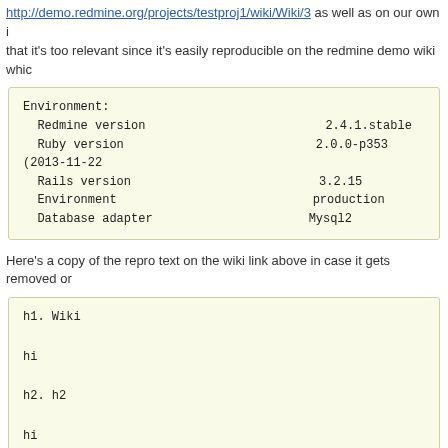http://demo.redmine.org/projects/testproj1/wiki/Wiki/3 as well as on our own i that it's too relevant since it's easily reproducible on the redmine demo wiki whic
Environment:
  Redmine version    2.4.1.stable
  Ruby version       2.0.0-p353 (2013-11-22
  Rails version      3.2.15
  Environment        production
  Database adapter   Mysql2
Here's a copy of the repro text on the wiki link above in case it gets removed or
h1. Wiki

hi

h2. h2

hi

h5. CI Nickname:

* Monitored
* Notification
* Notification G
* Checks

h6. Check
* CI
* Interval
* Submit